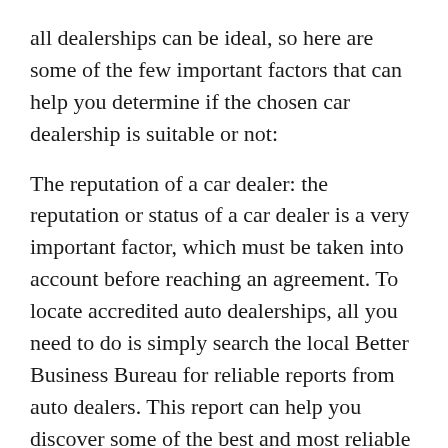all dealerships can be ideal, so here are some of the few important factors that can help you determine if the chosen car dealership is suitable or not:
The reputation of a car dealer: the reputation or status of a car dealer is a very important factor, which must be taken into account before reaching an agreement. To locate accredited auto dealerships, all you need to do is simply search the local Better Business Bureau for reliable reports from auto dealers. This report can help you discover some of the best and most reliable car dealers located near your location. In addition, you can even ask family and friends to go through car dealers with whom they are concerned to offer satisfaction.
The price charged by the dealer: if you assume that the price you pay is for the entire vehicle, wake up.